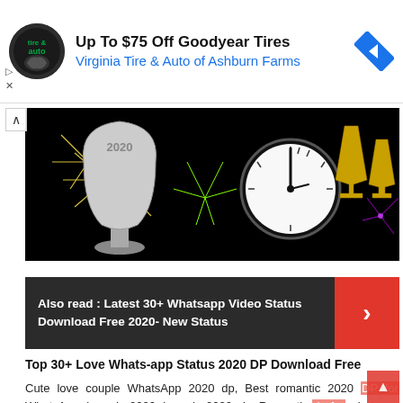[Figure (infographic): Advertisement banner for Virginia Tire & Auto of Ashburn Farms with logo, Goodyear tires offer text, and blue navigation arrow icon]
[Figure (photo): New Year 2020 celebration image with trophy, fireworks, clock showing midnight, champagne glasses on dark background]
Also read : Latest 30+ Whatsapp Video Status Download Free 2020- New Status
Top 30+ Love Whats-app Status 2020 DP Download Free
Cute love couple WhatsApp 2020 dp, Best romantic 2020 DP for WhatsApp, love dp 2020, love dp 2020 pic, Romantic dp for whatsapp 2020 hd, Romantic dp for 2020 whatsapp download.